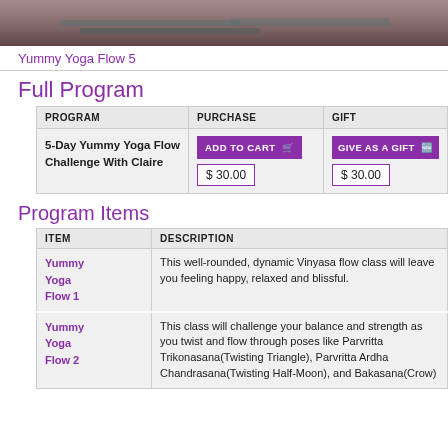[Figure (photo): Top photo showing yoga mats on a wooden floor]
Yummy Yoga Flow 5
Full Program
| PROGRAM | PURCHASE | GIFT |
| --- | --- | --- |
| 5-Day Yummy Yoga Flow Challenge With Claire | ADD TO CART  $ 30.00 | GIVE AS A GIFT  $ 30.00 |
Program Items
| ITEM | DESCRIPTION |
| --- | --- |
| Yummy Yoga Flow 1 | This well-rounded, dynamic Vinyasa flow class will leave you feeling happy, relaxed and blissful. |
| Yummy Yoga Flow 2 | This class will challenge your balance and strength as you twist and flow through poses like Parvritta Trikonasana(Twisting Triangle), Parvritta Ardha Chandrasana(Twisting Half-Moon), and Bakasana(Crow) |